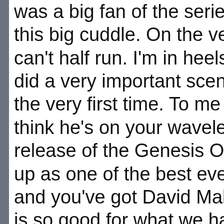was a big fan of the series. this big cuddle. On the very can't half run. I'm in heels, did a very important scene the very first time. To me it' think he's on your wavelen release of the Genesis Of T up as one of the best ever and you've got David Malo is so good for what we had Daleks is a tribute to Docto